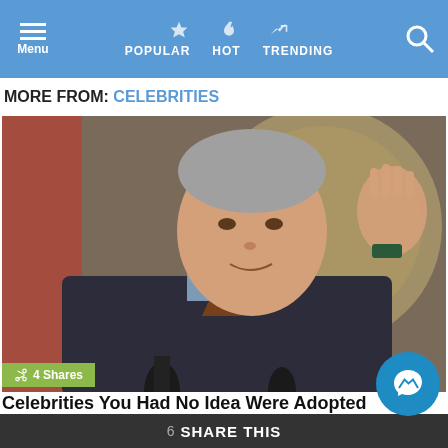Menu | POPULAR | HOT | TRENDING
MORE FROM: CELEBRITIES
[Figure (photo): A man in a dark suit with gray hair waving, standing in front of a circular official seal and a US flag. Microphones visible at bottom.]
4 Shares
Celebrities You Had No Idea Were Adopted
6 SHARE THIS
Another proof that celebrities are just like us! The fact that someone